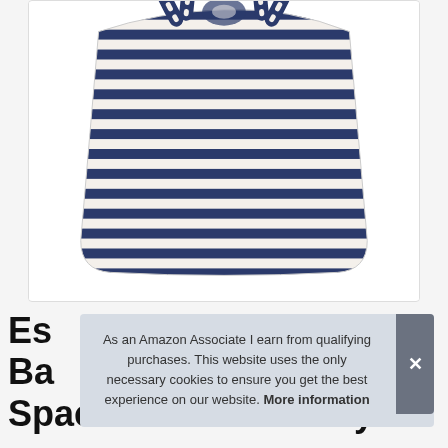[Figure (photo): A navy blue and cream/white horizontally striped canvas tote bag with knotted handles, photographed on a white background.]
Es Ba Spacious and Roomy
As an Amazon Associate I earn from qualifying purchases. This website uses the only necessary cookies to ensure you get the best experience on our website. More information